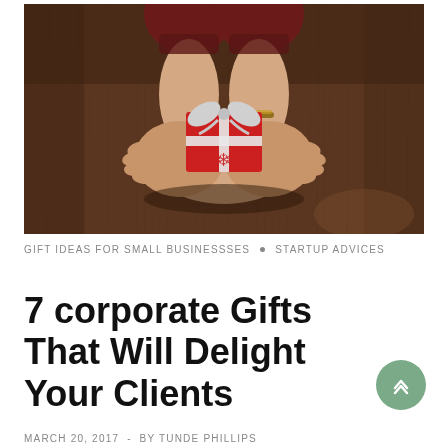[Figure (photo): Overhead view of two hands cupped together holding a small red and silver gift box with ribbon on a dark wooden floor background.]
GIFT IDEAS FOR SMALL BUSINESSSES  ◦  STARTUP ADVICES
7 corporate Gifts That Will Delight Your Clients
MARCH 20, 2017  -  BY TUNDE PHILLIPS